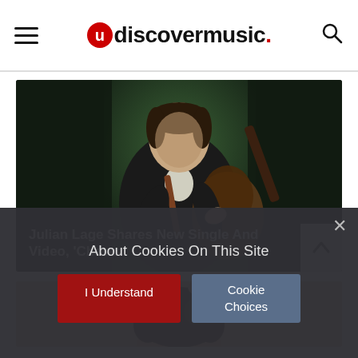uDiscoverMusic navigation header with hamburger menu and search icon
[Figure (photo): Julian Lage playing guitar against a dark green background, wearing a dark jacket]
Julian Lage Shares New Single And Video, 'Chavez'
[Figure (photo): Partial photo of a person with curly hair against a light skin-tone background]
About Cookies On This Site
I Understand
Cookie Choices